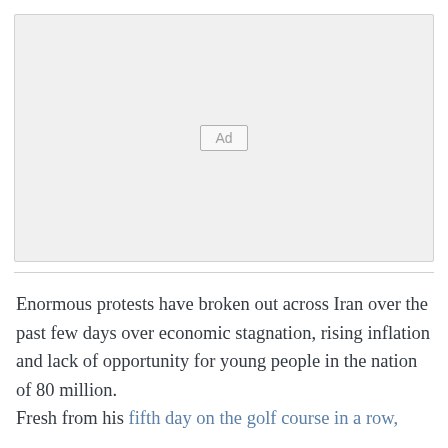[Figure (other): Advertisement placeholder box with 'Ad' label]
Enormous protests have broken out across Iran over the past few days over economic stagnation, rising inflation and lack of opportunity for young people in the nation of 80 million.
Fresh from his fifth day on the golf course in a row,